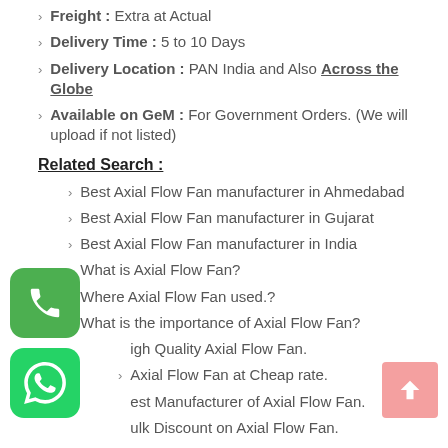Freight : Extra at Actual
Delivery Time : 5 to 10 Days
Delivery Location : PAN India and Also Across the Globe
Available on GeM : For Government Orders. (We will upload if not listed)
Related Search :
Best Axial Flow Fan manufacturer in Ahmedabad
Best Axial Flow Fan manufacturer in Gujarat
Best Axial Flow Fan manufacturer in India
What is Axial Flow Fan?
Where Axial Flow Fan used.?
What is the importance of Axial Flow Fan?
High Quality Axial Flow Fan.
Axial Flow Fan at Cheap rate.
Best Manufacturer of Axial Flow Fan.
Bulk Discount on Axial Flow Fan.